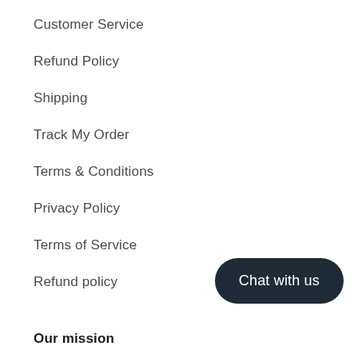Customer Service
Refund Policy
Shipping
Track My Order
Terms & Conditions
Privacy Policy
Terms of Service
Refund policy
[Figure (other): Dark rounded pill-shaped button with white text reading 'Chat with us']
Our mission